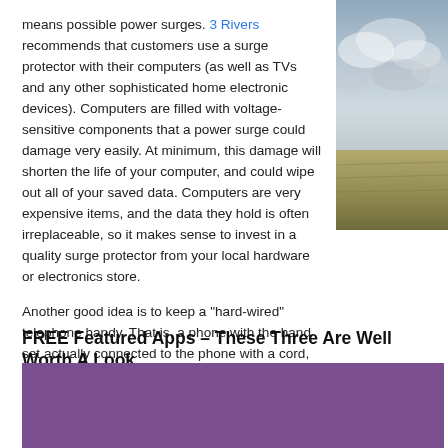means possible power surges. 3 Rivers recommends that customers use a surge protector with their computers (as well as TVs and any other sophisticated home electronic devices). Computers are filled with voltage-sensitive components that a power surge could damage very easily. At minimum, this damage will shorten the life of your computer, and could wipe out all of your saved data. Computers are very expensive items, and the data they hold is often irreplaceable, so it makes sense to invest in a quality surge protector from your local hardware or electronics store.
[Figure (photo): Photo of a countryside landscape with dramatic cloudy sky above flat agricultural fields.]
Another good idea is to keep a "hard-wired" telephone handy. That is, a phone with the hand set actually connected to the phone with a cord, not a cordless phone. A power surge or thunder storm could cause a cordless phone to seem like it has "gone dead." It may act like the phone will not know that the telephone line itself is fine unless you unplug all cordless machines, ruters, etc., and then connect a hard-wired phone to the phone jack back. This is always a good thing to check before calling 3 Rivers with a possi...
FREE Featured Apps – These Three Are Well Worth A Look
[Figure (illustration): Purple/violet colored background block, partially visible, appearing to be the top of a featured apps graphic section.]